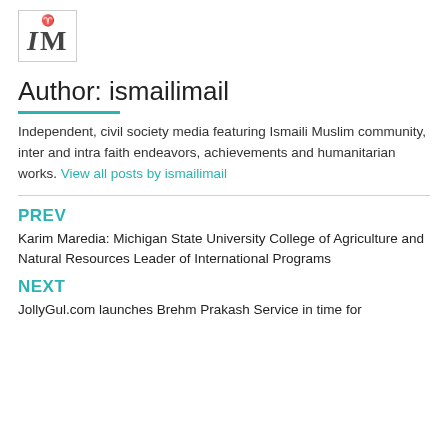[Figure (logo): IM logo with decorative icon inside a bordered box]
Author: ismailimail
Independent, civil society media featuring Ismaili Muslim community, inter and intra faith endeavors, achievements and humanitarian works. View all posts by ismailimail
PREV
Karim Maredia: Michigan State University College of Agriculture and Natural Resources Leader of International Programs
NEXT
JollyGul.com launches Brehm Prakash Service in time for